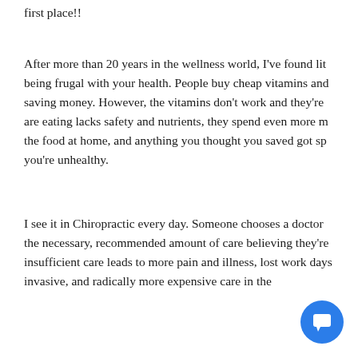first place!!
After more than 20 years in the wellness world, I've found little sense in being frugal with your health. People buy cheap vitamins and supplements saving money. However, the vitamins don't work and they're are eating lacks safety and nutrients, they spend even more m the food at home, and anything you thought you saved got spe you're unhealthy.
I see it in Chiropractic every day. Someone chooses a doctor the necessary, recommended amount of care believing they're insufficient care leads to more pain and illness, lost work days invasive, and radically more expensive care in the
[Figure (other): Blue circular chat button with speech bubble icon in bottom right corner]